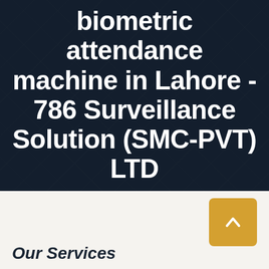biometric attendance machine in Lahore - 786 Surveillance Solution (SMC-PVT) LTD
Home : Services : biometric attendance machine in Lahore
[Figure (other): Gold/amber colored back-to-top button with upward chevron arrow]
Our Services